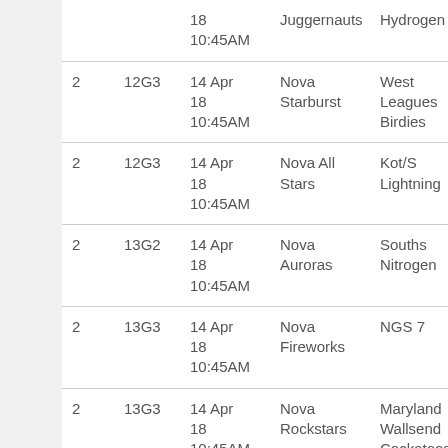| Round | Grade | Date/Time | Home Team | Away Team | Result |
| --- | --- | --- | --- | --- | --- |
|  |  | 18
10:45AM | Juggernauts | Hydrogen |  |
| 2 | 12G3 | 14 Apr
18
10:45AM | Nova Starburst | West Leagues Birdies | W |
| 2 | 12G3 | 14 Apr
18
10:45AM | Nova All Stars | Kot/S Lightning | W |
| 2 | 13G2 | 14 Apr
18
10:45AM | Nova Auroras | Souths Nitrogen | L 1 |
| 2 | 13G3 | 14 Apr
18
10:45AM | Nova Fireworks | NGS 7 | L P |
| 2 | 13G3 | 14 Apr
18
10:45AM | Nova Rockstars | Maryland Wallsend Cockatoos | L 4 |